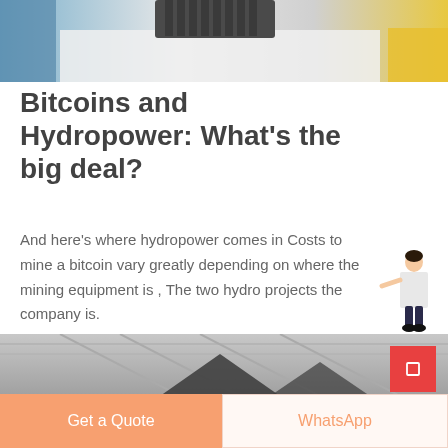[Figure (photo): Top banner image showing mining equipment or industrial machinery on a white surface with yellow and blue background elements]
Bitcoins and Hydropower: What's the big deal?
And here's where hydropower comes in Costs to mine a bitcoin vary greatly depending on where the mining equipment is , The two hydro projects the company is.
[Figure (illustration): Free chat widget: illustration of a businesswoman in white pointing, with a blue button labeled 'Free chat']
MORE
[Figure (photo): Bottom image strip showing industrial warehouse interior with steel structure and dark triangular shapes]
Get a Quote | WhatsApp